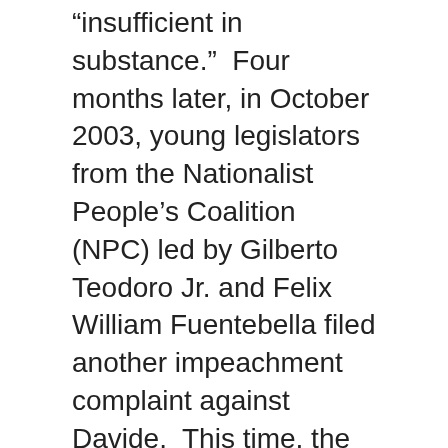“insufficient in substance.”  Four months later, in October 2003, young legislators from the Nationalist People’s Coalition (NPC) led by Gilberto Teodoro Jr. and Felix William Fuentebella filed another impeachment complaint against Davide.  This time, the complaint carried the signatures of more than one-third of the House members, the minimum number needed to send a complaint to the Senate for trial.
Despite the numbers, Davide was not impeached.  The case never reached the Senate.  Before the resolution could be formally transmitted, the House adjourned for more than two weeks, allowing Davide’s lawyers to go to the Supreme Court to question the complaint on constitutional grounds.  The challenge was anchored on the constitutional provision that permits only one impeachment